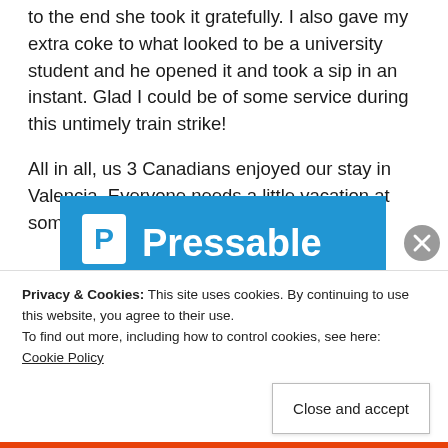to the end she took it gratefully. I also gave my extra coke to what looked to be a university student and he opened it and took a sip in an instant. Glad I could be of some service during this untimely train strike!
All in all, us 3 Canadians enjoyed our stay in Valencia. Everyone needs a little vacation at some point!
[Figure (screenshot): Pressable advertisement banner with blue background, white 'P' logo and 'Pressable' text, a green underline, and a person in mid-air holding a laptop.]
Privacy & Cookies: This site uses cookies. By continuing to use this website, you agree to their use.
To find out more, including how to control cookies, see here: Cookie Policy
Close and accept